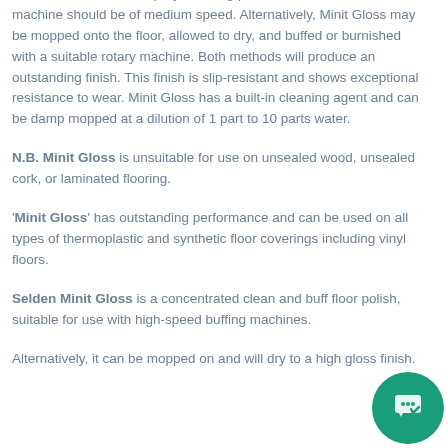alternatively, it can be mopped on and will dry to a high gloss finish. Minit Gloss should be diluted into a trigger spray 1 part to 10 parts water and used with a spray cleaning pad. For best results, the machine should be of medium speed. Alternatively, Minit Gloss may be mopped onto the floor, allowed to dry, and buffed or burnished with a suitable rotary machine. Both methods will produce an outstanding finish. This finish is slip-resistant and shows exceptional resistance to wear. Minit Gloss has a built-in cleaning agent and can be damp mopped at a dilution of 1 part to 10 parts water.
N.B. Minit Gloss is unsuitable for use on unsealed wood, unsealed cork, or laminated flooring.
'Minit Gloss' has outstanding performance and can be used on all types of thermoplastic and synthetic floor coverings including vinyl floors.
Selden Minit Gloss is a concentrated clean and buff floor polish, suitable for use with high-speed buffing machines.
Alternatively, it can be mopped on and will dry to a high gloss finish.